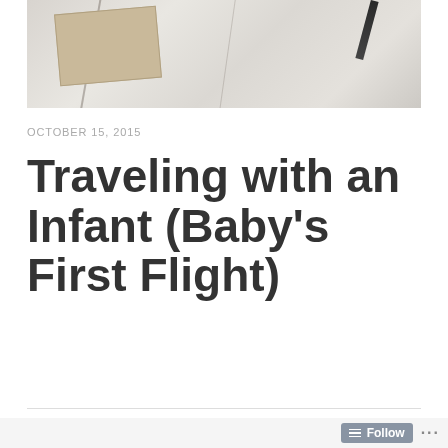[Figure (photo): Photo of a white wooden surface with a kraft envelope and a dark pen/marker, viewed from above at an angle.]
OCTOBER 15, 2015
Traveling with an Infant (Baby's First Flight)
TRAVEL STROLLING
Follow